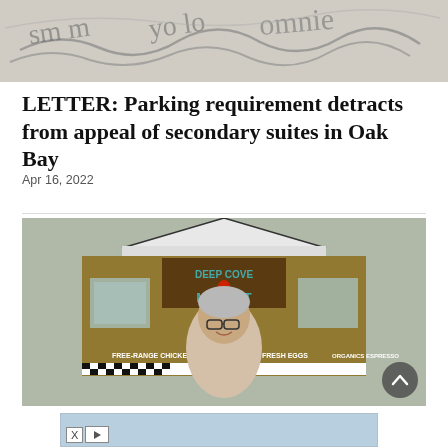[Figure (photo): Close-up of handwritten cursive text on paper, partially visible at the top of the page]
LETTER: Parking requirement detracts from appeal of secondary suites in Oak Bay
Apr 16, 2022
[Figure (photo): Woman with short gray hair and glasses smiling in front of the Deep Cove Market store, which has signs reading 'FREE-RANGE CHICKENS', 'FRESH EGGS', 'ORGANICS', 'ESPRESSO']
[Figure (other): Advertisement placeholder with light blue background and X/play controls at the bottom left]